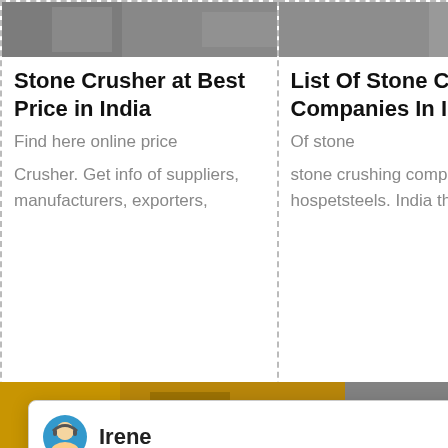[Figure (screenshot): Top image strip showing industrial crusher machinery, partially visible at top of three card columns]
Stone Crusher at Best Price in India
Find here online price
List Of Stone Crusher Companies In India
Of stone
Crusher Manufacturing Companies In India Crusher Mills ...
Crusher. Get info of suppliers, manufacturers, exporters,
stone crushing companies india hospetsteels. India the
[Figure (screenshot): Chat popup with avatar of Irene, language selection message]
Irene
Please choose the language you prefer:1.English  2.Español 3.русский  4.Français  5.bahasa Indonesia   6. عربسعربی
[Figure (screenshot): Right sidebar with smiley face chat widget, Enquiry label, and email cywaitml@gmail.com]
Click me to chat >>
Enquiry
cywaitml @gmail.com
[Figure (screenshot): Bottom image row showing industrial equipment and construction machinery]